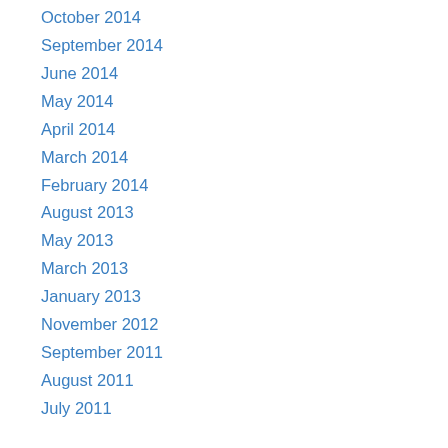October 2014
September 2014
June 2014
May 2014
April 2014
March 2014
February 2014
August 2013
May 2013
March 2013
January 2013
November 2012
September 2011
August 2011
July 2011